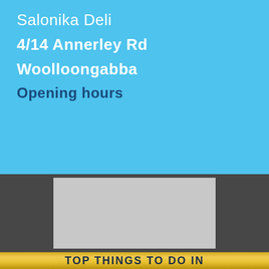Salonika Deli
4/14 Annerley Rd
Woolloongabba
Opening hours
[Figure (photo): Grey placeholder image box on dark background]
TOP THINGS TO DO IN